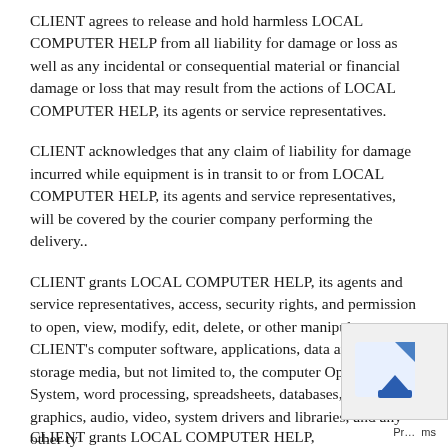CLIENT agrees to release and hold harmless LOCAL COMPUTER HELP from all liability for damage or loss as well as any incidental or consequential material or financial damage or loss that may result from the actions of LOCAL COMPUTER HELP, its agents or service representatives.
CLIENT acknowledges that any claim of liability for damage incurred while equipment is in transit to or from LOCAL COMPUTER HELP, its agents and service representatives, will be covered by the courier company performing the delivery..
CLIENT grants LOCAL COMPUTER HELP, its agents and service representatives, access, security rights, and permission to open, view, modify, edit, delete, or other manipulate CLIENT's computer software, applications, data and data storage media, but not limited to, the computer Operating System, word processing, spreadsheets, databases, workflow, graphics, audio, video, system drivers and libraries, and any other types of software or data that may be contained on CLIENT's computer system or network.
CLIENT grants LOCAL COMPUTER HELP, its agents and